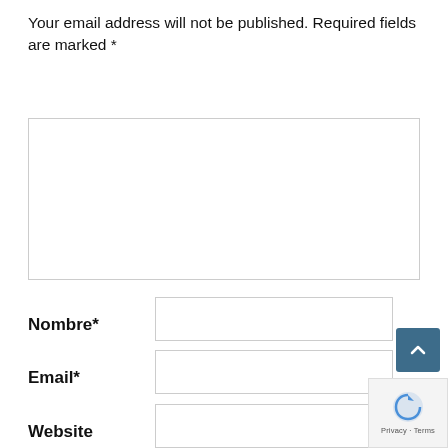Your email address will not be published. Required fields are marked *
[Figure (screenshot): Empty textarea input box with light gray border]
Nombre*
[Figure (screenshot): Text input field for Nombre]
Email*
[Figure (screenshot): Text input field for Email]
Website
[Figure (screenshot): Text input field for Website]
Notify me of follow-up comments by email.
SEND COMMENT